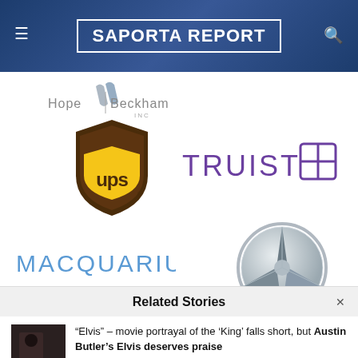SaportaReport
[Figure (logo): Hope Beckham INC logo]
[Figure (logo): UPS logo - brown shield with yellow UPS text]
[Figure (logo): Truist bank logo with grid icon]
[Figure (logo): Macquarium logo in blue text]
[Figure (logo): Mercedes-Benz three-pointed star logo]
Related Stories
“Elvis” – movie portrayal of the ‘King’ falls short, but Austin Butler’s Elvis deserves praise